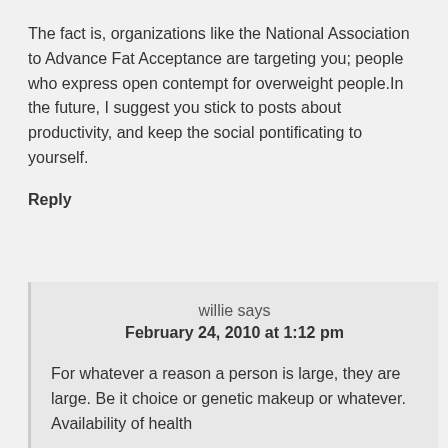The fact is, organizations like the National Association to Advance Fat Acceptance are targeting you; people who express open contempt for overweight people.In the future, I suggest you stick to posts about productivity, and keep the social pontificating to yourself.
Reply
willie says
February 24, 2010 at 1:12 pm
For whatever a reason a person is large, they are large. Be it choice or genetic makeup or whatever. Availability of health